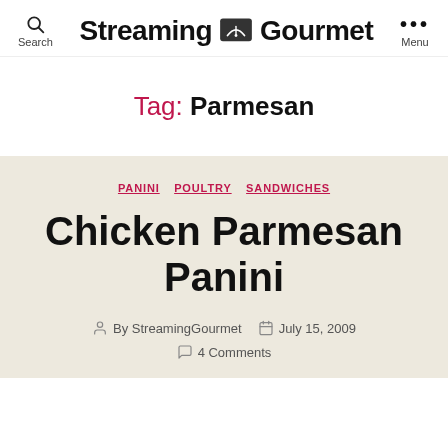Search  Streaming Gourmet  Menu
Tag: Parmesan
PANINI  POULTRY  SANDWICHES
Chicken Parmesan Panini
By StreamingGourmet  July 15, 2009  4 Comments